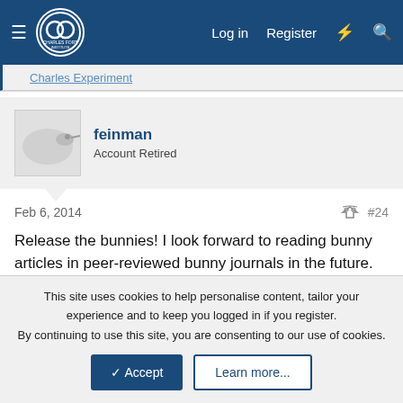Charles Fort Institute | Log in | Register
Charles Experiment
feinman
Account Retired
Feb 6, 2014  #24
Release the bunnies! I look forward to reading bunny articles in peer-reviewed bunny journals in the future.
ramonmercado
CyberPunk
This site uses cookies to help personalise content, tailor your experience and to keep you logged in if you register.
By continuing to use this site, you are consenting to our use of cookies.